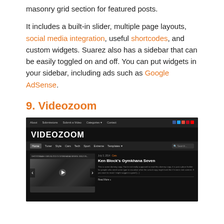masonry grid section for featured posts.
It includes a built-in slider, multiple page layouts, social media integration, useful shortcodes, and custom widgets. Suarez also has a sidebar that can be easily toggled on and off. You can put widgets in your sidebar, including ads such as Google AdSense.
9. Videozoom
[Figure (screenshot): Screenshot of the Videozoom WordPress theme showing a dark-themed website with navigation bar, large site title 'VIDEOZOOM', category navigation, and a featured video section showing 'Ken Block's Gymkhana Seven' with video thumbnail and description text and Read More link.]